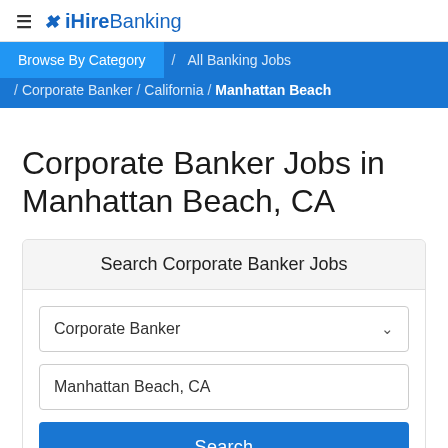≡ ✕ iHireBanking
Browse By Category / All Banking Jobs / Corporate Banker / California / Manhattan Beach
Corporate Banker Jobs in Manhattan Beach, CA
Search Corporate Banker Jobs
Corporate Banker [dropdown]
Manhattan Beach, CA
Search